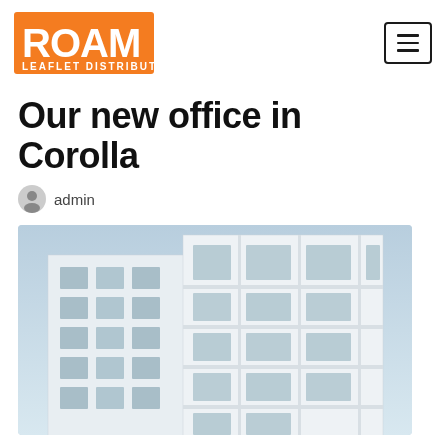ROAM LEAFLET DISTRIBUTION
Our new office in Corolla
admin
[Figure (photo): Exterior view of a modern white office building with grid-pattern windows against a light blue sky]